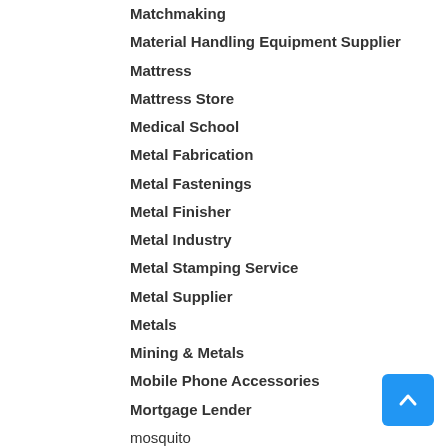Matchmaking
Material Handling Equipment Supplier
Mattress
Mattress Store
Medical School
Metal Fabrication
Metal Fastenings
Metal Finisher
Metal Industry
Metal Stamping Service
Metal Supplier
Metals
Mining & Metals
Mobile Phone Accessories
Mortgage Lender
mosquito
Moving Services